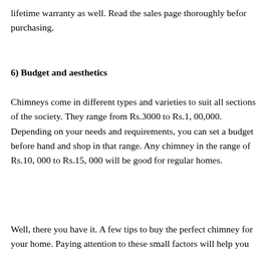lifetime warranty as well. Read the sales page thoroughly before purchasing.
6) Budget and aesthetics
Chimneys come in different types and varieties to suit all sections of the society. They range from Rs.3000 to Rs.1, 00,000. Depending on your needs and requirements, you can set a budget before hand and shop in that range. Any chimney in the range of Rs.10, 000 to Rs.15, 000 will be good for regular homes.
Well, there you have it. A few tips to buy the perfect chimney for your home. Paying attention to these small factors will help you